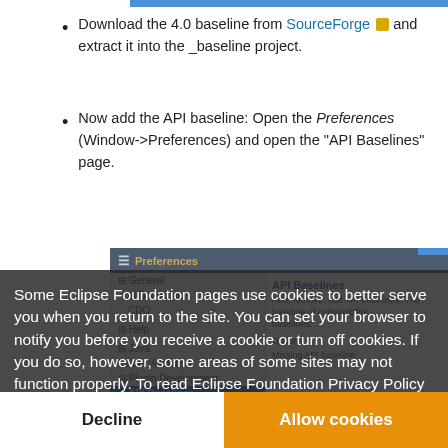Download the 4.0 baseline from SourceForge and extract it into the _baseline project.
Now add the API baseline: Open the Preferences (Window->Preferences) and open the "API Baselines" page.
[Figure (screenshot): Eclipse Preferences dialog showing API Baselines page in Plugin Development section, partially visible behind cookie consent overlay]
Some Eclipse Foundation pages use cookies to better serve you when you return to the site. You can set your browser to notify you before you receive a cookie or turn off cookies. If you do so, however, some areas of some sites may not function properly. To read Eclipse Foundation Privacy Policy click here.